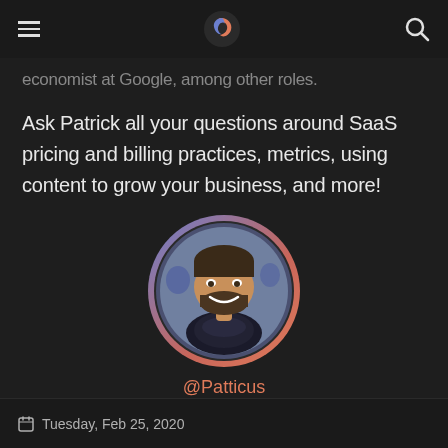[hamburger menu] [logo] [search icon]
economist at Google, among other roles.
Ask Patrick all your questions around SaaS pricing and billing practices, metrics, using content to grow your business, and more!
[Figure (photo): Circular profile photo of Patrick with a blue-to-salmon gradient ring border]
@Patticus
Tuesday, Feb 25, 2020